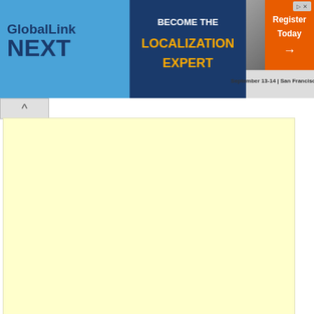[Figure (screenshot): GlobalLink NEXT banner advertisement: Become the Localization Expert, September 13-14, San Francisco CA, Register Today]
Good knowledge of content editing tools
Familiarity with translation software
Time-management skills

Note:
Experienced in Prabandhak tool.
Domain : Banking, E-learning, Tax
Work from Home

Regards,
Jeyadharshini
Whatsapp: 7708632323

We want to pay for this job 0.05 EUR per

Who can apply: Freelancers and agencies

Deadline for applying: 09/23/2021

Keep this ad at the site permanently

7708632323
Honey Translation Services
India
IP: 223.182.192.25 (N/A)
* * * * * * * * * * * * * * * * * *